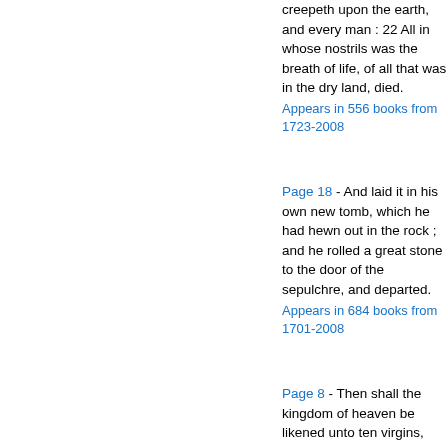creepeth upon the earth, and every man : 22 All in whose nostrils was the breath of life, of all that was in the dry land, died. Appears in 556 books from 1723-2008
Page 18 - And laid it in his own new tomb, which he had hewn out in the rock ; and he rolled a great stone to the door of the sepulchre, and departed. Appears in 684 books from 1701-2008
Page 8 - Then shall the kingdom of heaven be likened unto ten virgins, which took their lamps and went forth to meet